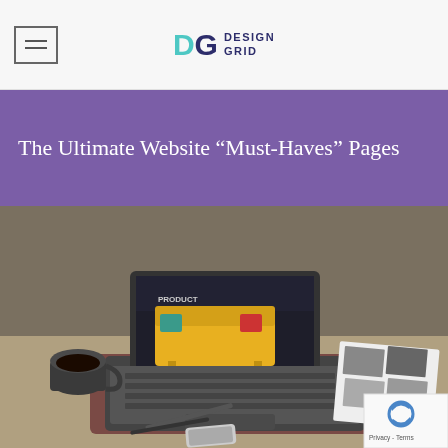DG DESIGN GRID
The Ultimate Website “Must-Haves” Pages
[Figure (photo): Laptop on a desk showing a product website with a yellow sofa, alongside a coffee mug, pen, phone, and design printouts. A reCAPTCHA badge appears in the bottom-right corner with 'Privacy - Terms' text.]